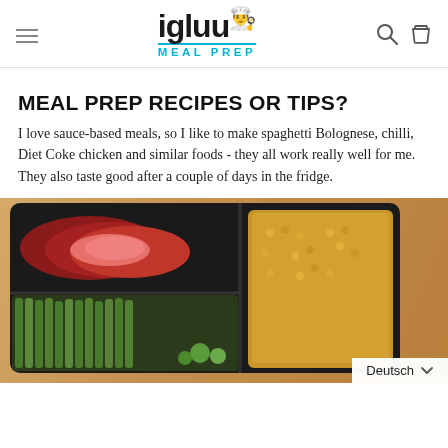igluu MEAL PREP
MEAL PREP RECIPES OR TIPS?
I love sauce-based meals, so I like to make spaghetti Bolognese, chilli, Diet Coke chicken and similar foods - they all work really well for me. They also taste good after a couple of days in the fridge.
[Figure (photo): A black meal prep container with sliced steak, asparagus, and corn/rice, photographed on a wooden surface.]
Deutsch